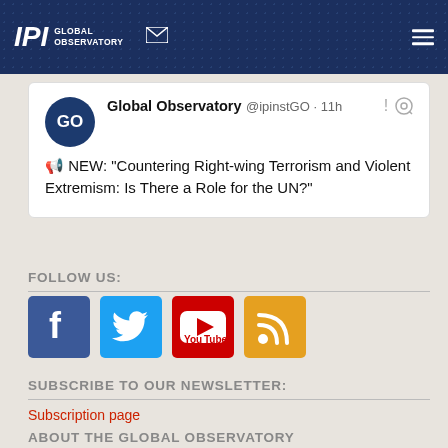IPI Global Observatory
Global Observatory @ipinstGO · 11h
📢 NEW: "Countering Right-wing Terrorism and Violent Extremism: Is There a Role for the UN?"
FOLLOW US:
[Figure (other): Social media icons: Facebook, Twitter, YouTube, RSS]
SUBSCRIBE TO OUR NEWSLETTER:
Subscription page
ABOUT THE GLOBAL OBSERVATORY